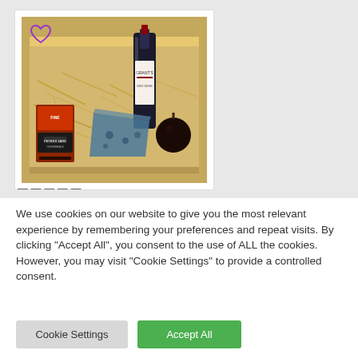[Figure (photo): A wooden gift hamper box containing a red wine bottle, blue cheese, cured meat/crackers package (Peters Yard brand), and what appears to be a dark round fruit or fig, all nestled in straw/shredded paper. A purple heart icon is visible in the top-left corner of the image.]
We use cookies on our website to give you the most relevant experience by remembering your preferences and repeat visits. By clicking "Accept All", you consent to the use of ALL the cookies. However, you may visit "Cookie Settings" to provide a controlled consent.
Cookie Settings
Accept All